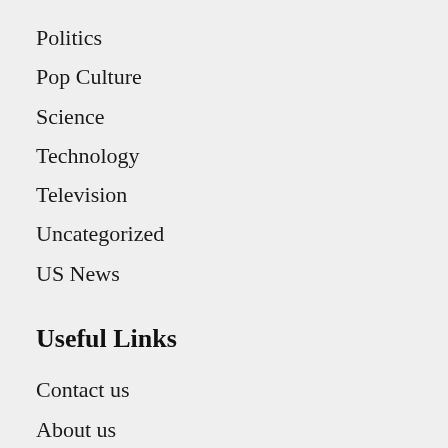Politics
Pop Culture
Science
Technology
Television
Uncategorized
US News
Useful Links
Contact us
About us
Amazon Disclaimer